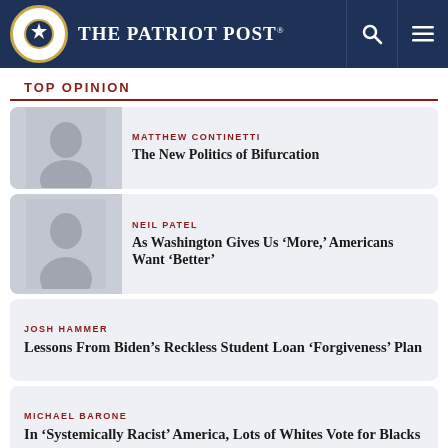The Patriot Post
TOP OPINION
MATTHEW CONTINETTI — The New Politics of Bifurcation
NEIL PATEL — As Washington Gives Us ‘More,’ Americans Want ‘Better’
JOSH HAMMER — Lessons From Biden’s Reckless Student Loan ‘Forgiveness’ Plan
MICHAEL BARONE — In ‘Systemically Racist’ America, Lots of Whites Vote for Blacks
ERICK ERICKSON — An Immoral and Terrible Public Policy